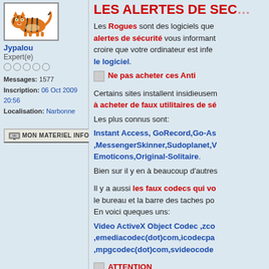[Figure (illustration): Tiger avatar image in a bordered box]
Jypalou
Expert(e)
○ ○ ○ ○ ○
Messages: 1577
Inscription: 06 Oct 2009 20:56
Localisation: Narbonne
[Figure (illustration): MON MATERIEL INFORMATIQUE button with CPU icon]
LES ALERTES DE SEC…
Les Rogues sont des logiciels que… alertes de sécurité vous informant… croire que votre ordinateur est infe… le logiciel.
[Image] Ne pas acheter ces Anti…
Certains sites installent insidieuse… à acheter de faux utilitaires de sé…
Les plus connus sont:
Instant Access, GoRecord,Go-As… ,MessengerSkinner,Sudoplanet,V… Emoticons,Original-Solitaire.
Bien sur il y en à beaucoup d'autr…
Il y a aussi les faux codecs qui vo… le bureau et la barre des taches p… En voici queques uns:
Video ActiveX Object Codec ,zco… ,emediacodec(dot)com,icodecpa… ,mpgcodec(dot)com,svideocod…
[Image] ATTENTION